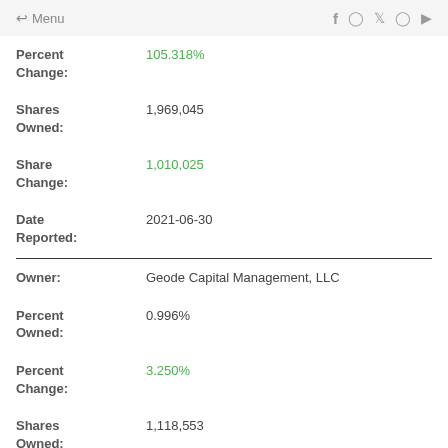← Menu  f  Instagram  Twitter  Pinterest  YouTube
Percent Change: 105.318%
Shares Owned: 1,969,045
Share Change: 1,010,025
Date Reported: 2021-06-30
Owner: Geode Capital Management, LLC
Percent Owned: 0.996%
Percent Change: 3.250%
Shares Owned: 1,118,553